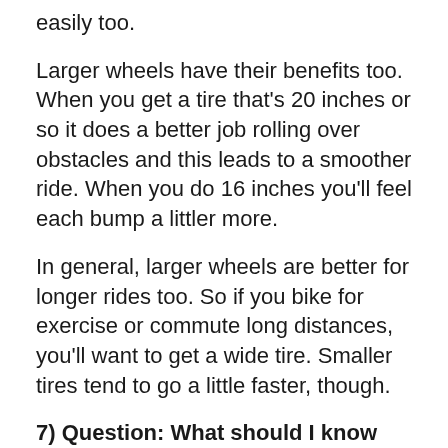easily too.
Larger wheels have their benefits too. When you get a tire that's 20 inches or so it does a better job rolling over obstacles and this leads to a smoother ride. When you do 16 inches you'll feel each bump a littler more.
In general, larger wheels are better for longer rides too. So if you bike for exercise or commute long distances, you'll want to get a wide tire. Smaller tires tend to go a little faster, though.
7) Question: What should I know about gears?
Answer: Explaining the entire gear system